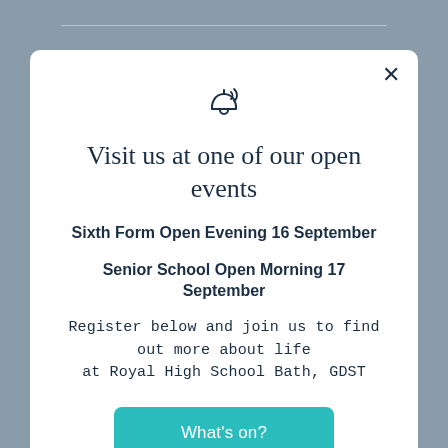[Figure (screenshot): A popup modal dialog over a blurred webpage background. The modal contains a bell icon, a title, two event listings in bold, a description paragraph, and a teal 'What's on?' button. A close (×) button is in the top right corner of the modal.]
Visit us at one of our open events
Sixth Form Open Evening 16 September
Senior School Open Morning 17 September
Register below and join us to find out more about life at Royal High School Bath, GDST